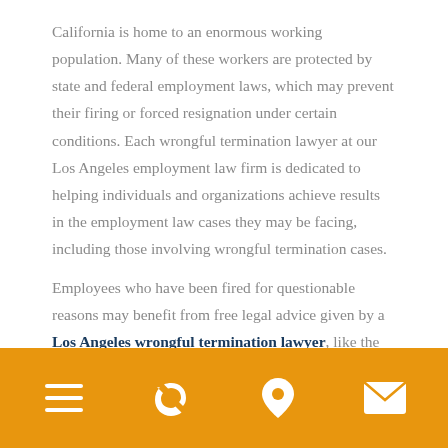California is home to an enormous working population. Many of these workers are protected by state and federal employment laws, which may prevent their firing or forced resignation under certain conditions. Each wrongful termination lawyer at our Los Angeles employment law firm is dedicated to helping individuals and organizations achieve results in the employment law cases they may be facing, including those involving wrongful termination cases.
Employees who have been fired for questionable reasons may benefit from free legal advice given by a Los Angeles wrongful termination lawyer, like the
[navigation bar with menu, phone, location, and email icons]